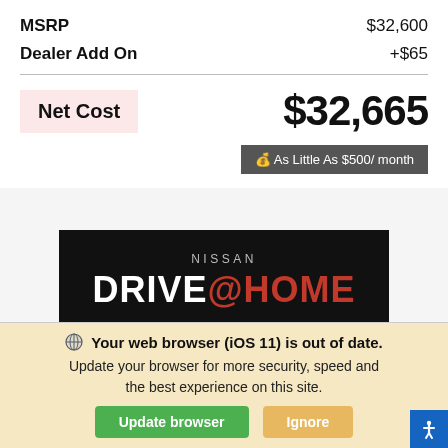MSRP    $32,600
Dealer Add On    +$65
Net Cost    $32,665
As Little As $500/ month
[Figure (photo): Nissan Drive@Home advertisement banner with 'SCHEDULE NOW' button on black background]
Your web browser (iOS 11) is out of date. Update your browser for more security, speed and the best experience on this site.
Update browser   Ignore